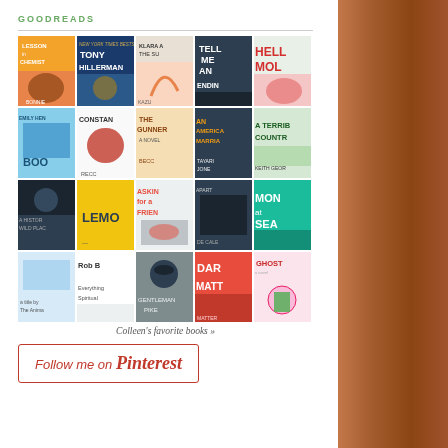GOODREADS
[Figure (other): Grid of 20 book covers arranged in 4 rows and 5 columns, showing various book titles including Lessons in Chemistry, Tony Hillerman, Klara and the Sun, Tell Me An Ending, Hello Molly, Emily Henry Book, Constance, The Gunner, An American Marriage, A Terrible Country, A History of Wild Places, Lemon, Asking for a Friend, Apartment, Money at Sea, and others]
Colleen's favorite books »
[Figure (other): Follow me on Pinterest button with Pinterest logo text in red italic script on white background with red border]